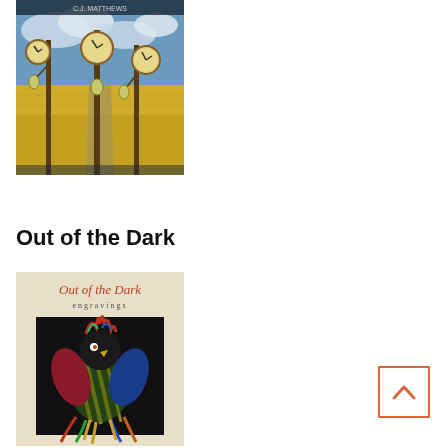[Figure (illustration): Book cover showing ornate clock poles in a golden field under a cloudy sky, with author name C.J. Matthews at top]
Out of the Dark
[Figure (illustration): Book cover for 'Out of the Dark engravings' showing a colorful jester or rooster figure on a dark background, beige cover with red title text]